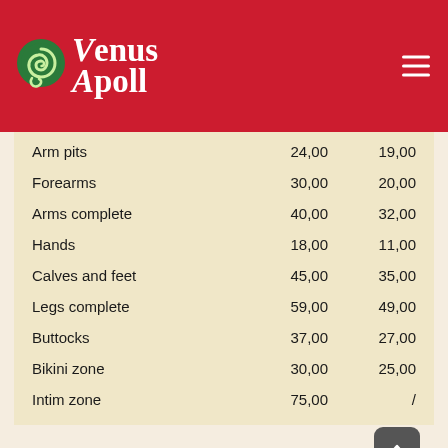[Figure (logo): Venus Apoll logo with green spiral circle and white serif text on red background]
| Service | Price | Member Price |
| --- | --- | --- |
| Arm pits | 24,00 | 19,00 |
| Forearms | 30,00 | 20,00 |
| Arms complete | 40,00 | 32,00 |
| Hands | 18,00 | 11,00 |
| Calves and feet | 45,00 | 35,00 |
| Legs complete | 59,00 | 49,00 |
| Buttocks | 37,00 | 27,00 |
| Bikini zone | 30,00 | 25,00 |
| Intim zone | 75,00 | / |
*incl. 19% VAT